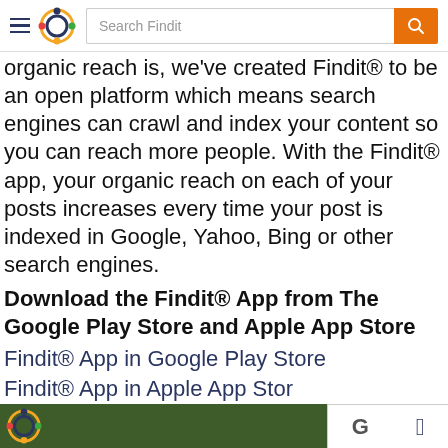Search Findit — Findit navigation header
organic reach is, we've created Findit® to be an open platform which means search engines can crawl and index your content so you can reach more people. With the Findit® app, your organic reach on each of your posts increases every time your post is indexed in Google, Yahoo, Bing or other search engines.
Download the Findit® App from The Google Play Store and Apple App Store
Findit® App in Google Play Store
Findit® App in Apple App Store